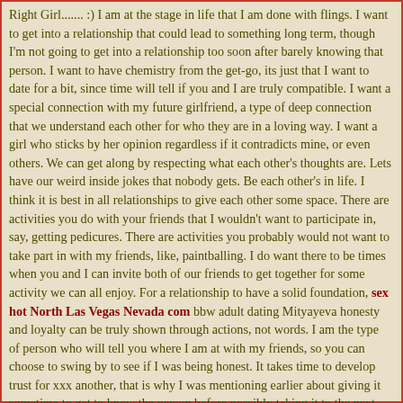Right Girl....... :) I am at the stage in life that I am done with flings. I want to get into a relationship that could lead to something long term, though I'm not going to get into a relationship too soon after barely knowing that person. I want to have chemistry from the get-go, its just that I want to date for a bit, since time will tell if you and I are truly compatible. I want a special connection with my future girlfriend, a type of deep connection that we understand each other for who they are in a loving way. I want a girl who sticks by her opinion regardless if it contradicts mine, or even others. We can get along by respecting what each other's thoughts are. Lets have our weird inside jokes that nobody gets. Be each other's in life. I think it is best in all relationships to give each other some space. There are activities you do with your friends that I wouldn't want to participate in, say, getting pedicures. There are activities you probably would not want to take part in with my friends, like, paintballing. I do want there to be times when you and I can invite both of our friends to get together for some activity we can all enjoy. For a relationship to have a solid foundation, sex hot North Las Vegas Nevada com bbw adult dating Mityayeva honesty and loyalty can be truly shown through actions, not words. I am the type of person who will tell you where I am at with my friends, so you can choose to swing by to see if I was being honest. It takes time to develop trust for xxx another, that is why I was mentioning earlier about giving it sometime to get to know the person before possibly taking it to the next step If I am having a bad day, having a girl attempting to give loving advice, or even comforting words is something better offer than sex. I would do the same. If you're the type of girl who wants to have sex after just meeting each other, it is not going to work out between you and I. Yes, I'd be a